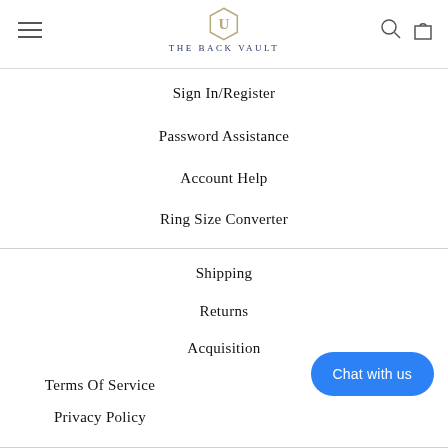THE BACK VAULT
Sign In/Register
Password Assistance
Account Help
Ring Size Converter
Shipping
Returns
Acquisition
Terms Of Service
Privacy Policy